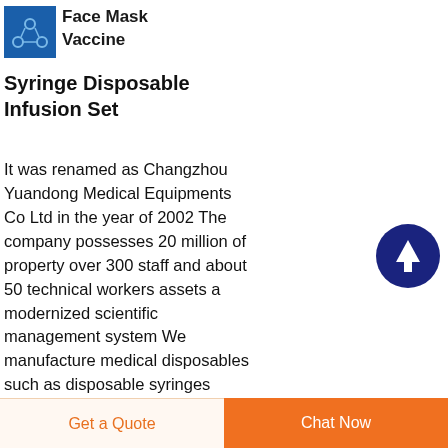[Figure (logo): Blue square logo with a molecule/medical icon in white]
Face Mask Vaccine
Syringe Disposable Infusion Set
It was renamed as Changzhou Yuandong Medical Equipments Co Ltd in the year of 2002 The company possesses 20 million of property over 300 staff and about 50 technical workers assets a modernized scientific management system We manufacture medical disposables such as disposable syringes Disposable Infusion Sets and
[Figure (illustration): Dark blue circle with white upward arrow inside, scroll-to-top button]
Get a Quote  Chat Now